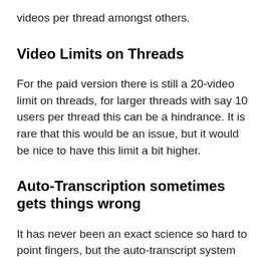videos per thread amongst others.
Video Limits on Threads
For the paid version there is still a 20-video limit on threads, for larger threads with say 10 users per thread this can be a hindrance. It is rare that this would be an issue, but it would be nice to have this limit a bit higher.
Auto-Transcription sometimes gets things wrong
It has never been an exact science so hard to point fingers, but the auto-transcript system